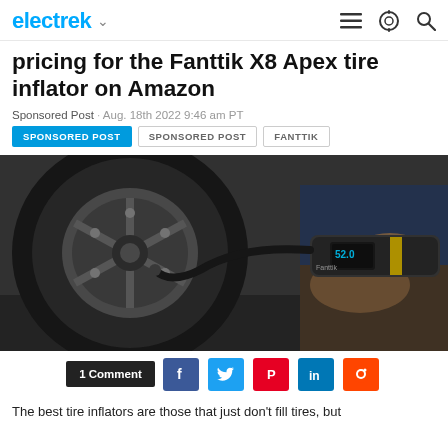electrek
pricing for the Fanttik X8 Apex tire inflator on Amazon
Sponsored Post · Aug. 18th 2022 9:46 am PT
SPONSORED POST
SPONSORED POST
FANTTIK
[Figure (photo): Person using a Fanttik tire inflator device to inflate a car tire. The handheld black device with digital display and yellow accent is shown being connected to a car's tire valve stem.]
1 Comment
The best tire inflators are those that just don't fill tires, but